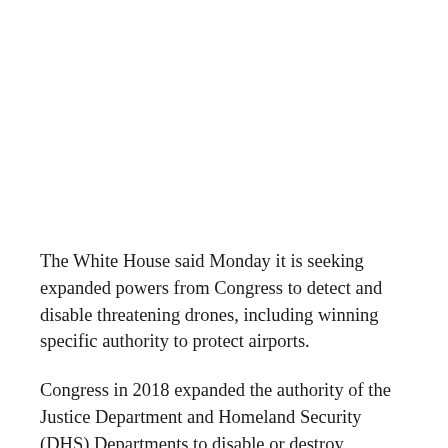The White House said Monday it is seeking expanded powers from Congress to detect and disable threatening drones, including winning specific authority to protect airports.
Congress in 2018 expanded the authority of the Justice Department and Homeland Security (DHS) Departments to disable or destroy threatening drones, which are formally known as unmanned aircraft systems (UAS), but